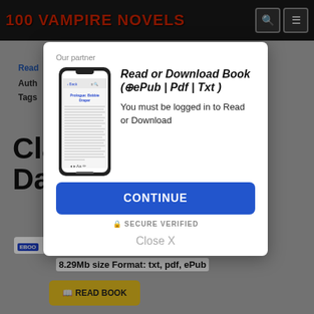100 VAMPIRE NOVELS
[Figure (screenshot): Website screenshot showing 100 Vampire Novels header with search and menu icons]
Our partner
[Figure (illustration): Smartphone showing a book reading app with 'Prologue: Bobbie Draper' text]
Read or Download Book (⊕ePub | Pdf | Txt )
You must be logged in to Read or Download
CONTINUE
🔒 SECURE VERIFIED
Close X
Read
Auth
Tags
Cla
Dar
8.29Mb size Format: txt, pdf, ePub
READ BOOK